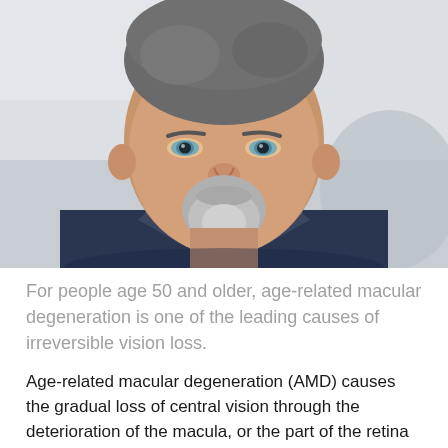[Figure (photo): Close-up portrait of a middle-aged man with short gray hair, a gray goatee, and blue eyes, wearing a dark navy zip-up jacket. The background is blurred white and light blue-gray.]
For people age 50 and older, age-related macular degeneration is one of the leading causes of irreversible vision loss.
Age-related macular degeneration (AMD) causes the gradual loss of central vision through the deterioration of the macula, or the part of the retina